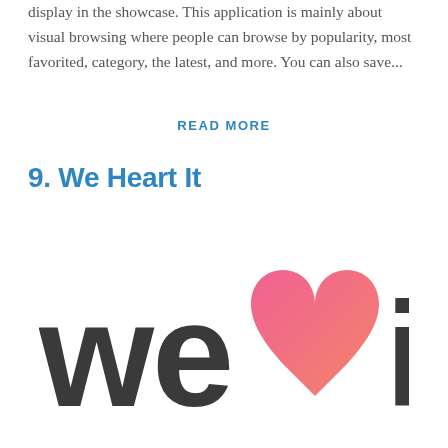display in the showcase. This application is mainly about visual browsing where people can browse by popularity, most favorited, category, the latest, and more. You can also save...
READ MORE
9. We Heart It
[Figure (logo): We Heart It logo — 'we' and 'it' in dark gray bold sans-serif with a pink/coral gradient heart symbol in between]